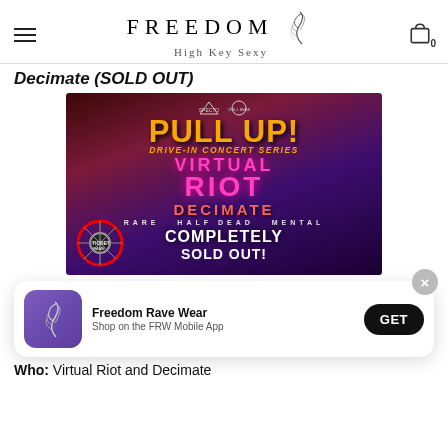FREEDOM High Key Sexy
Decimate (SOLD OUT)
[Figure (photo): Event flyer for Pull Up! Drive-In Concert Series featuring Virtual Riot and Decimate, with text COMPLETELY SOLD OUT!, dark purple/red atmospheric background, logos for Specto and Chill Bear at top, supporting acts RARE HALF DEAD MENTAL listed]
Freedom Rave Wear
Shop on the FRW Mobile App
Who: Virtual Riot and Decimate